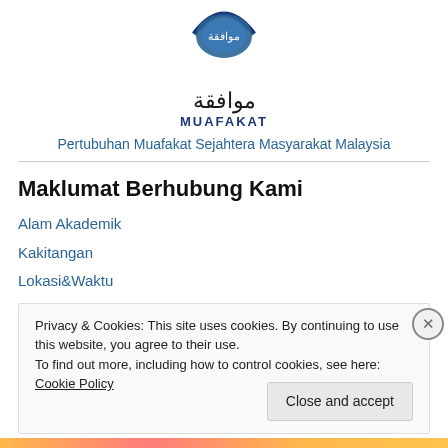[Figure (logo): Muafakat logo: blue circular emblem with Arabic calligraphy text موافقة and MUAFAKAT label below]
Pertubuhan Muafakat Sejahtera Masyarakat Malaysia
Maklumat Berhubung Kami
Alam Akademik
Kakitangan
Lokasi&Waktu
Pengurusan&Pengarah
Privacy & Cookies: This site uses cookies. By continuing to use this website, you agree to their use.
To find out more, including how to control cookies, see here: Cookie Policy